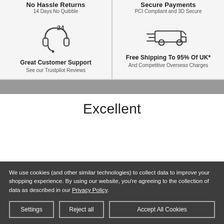No Hassle Returns — 14 Days No Quibble
Secure Payments — PCI Compliant and 3D Secure
[Figure (illustration): 24-hour headset customer support icon]
Great Customer Support — See our Trustpilot Reviews
[Figure (illustration): Delivery van with speed lines icon]
Free Shipping To 95% Of UK* — And Competitive Overseas Charges
Excellent
We use cookies (and other similar technologies) to collect data to improve your shopping experience. By using our website, you're agreeing to the collection of data as described in our Privacy Policy.
Settings | Reject all | Accept All Cookies